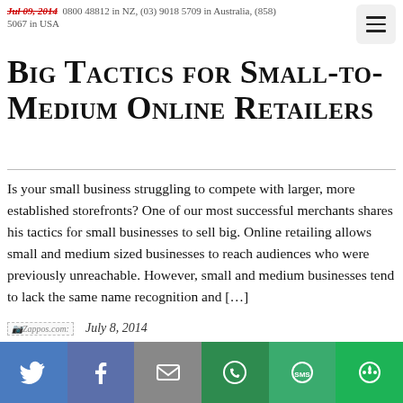Jul 09, 2014 · 0800 4812 in NZ, (03) 9018 5709 in Australia, (858) 5067 in USA
Big Tactics for Small-to-Medium Online Retailers
Is your small business struggling to compete with larger, more established storefronts? One of our most successful merchants shares his tactics for small businesses to sell big. Online retailing allows small and medium sized businesses to reach audiences who were previously unreachable. However, small and medium businesses tend to lack the same name recognition and […]
[Figure (logo): Zappos.com logo placeholder icon]
July 8, 2014
10 Sites Using Video Creatively to Engage C…
[Figure (infographic): Social share bottom bar with icons: Twitter (blue), Facebook (blue-grey), Mail (grey), WhatsApp (green), SMS (green), More (green)]